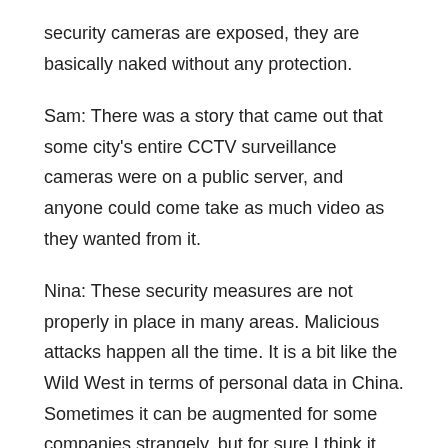security cameras are exposed, they are basically naked without any protection.
Sam: There was a story that came out that some city's entire CCTV surveillance cameras were on a public server, and anyone could come take as much video as they wanted from it.
Nina: These security measures are not properly in place in many areas. Malicious attacks happen all the time. It is a bit like the Wild West in terms of personal data in China. Sometimes it can be augmented for some companies strangely, but for sure I think it has to be better policed and best practices should be adopted, and hopefully, that will be able to improve over time in the future.